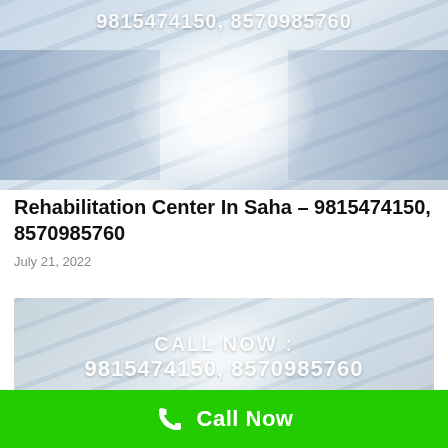[Figure (photo): Rehabilitation center room with rows of beds/tables, phone numbers overlaid in white bold text: 9815474150, 8570985760]
Rehabilitation Center In Saha – 9815474150, 8570985760
July 21, 2022
[Figure (photo): Rehabilitation center room photo with white bold text overlay: CALL NOW : 9815474150, 8570985760]
Call Now